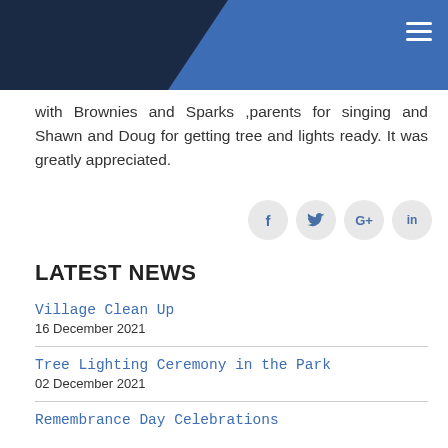[Figure (other): Website header with dark navy background and blue diagonal shape, with hamburger menu icon in top right corner]
with Brownies and Sparks ,parents for singing and Shawn and Doug for getting tree and lights ready. It was greatly appreciated.
[Figure (other): Social media share icons: Facebook (f), Twitter (bird), Google+ (G+), LinkedIn (in)]
LATEST NEWS
Village Clean Up
16 December 2021
Tree Lighting Ceremony in the Park
02 December 2021
Remembrance Day Celebrations